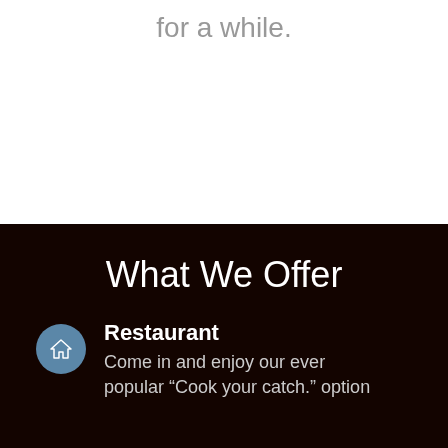for a while.
What We Offer
Restaurant
Come in and enjoy our ever popular “Cook your catch.” option